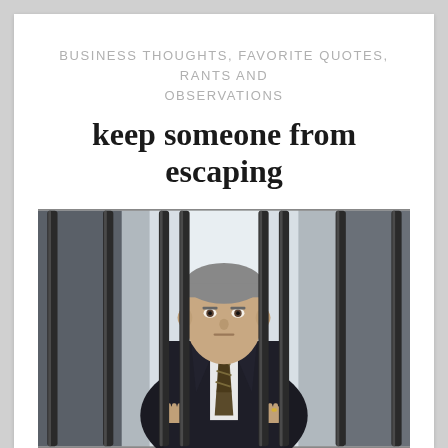BUSINESS THOUGHTS, FAVORITE QUOTES, RANTS AND OBSERVATIONS
keep someone from escaping
[Figure (photo): A middle-aged man in a dark business suit and striped tie standing behind vertical metal bars, looking straight at the camera with a serious expression. The background is blurred with light tones.]